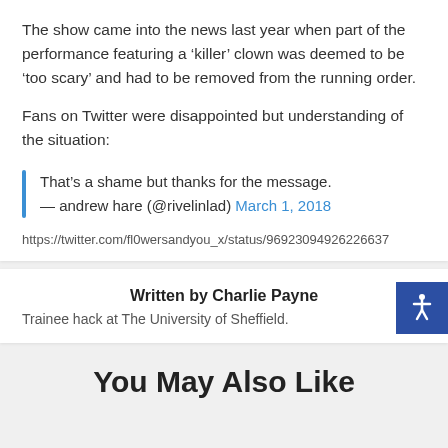The show came into the news last year when part of the performance featuring a ‘killer’ clown was deemed to be ‘too scary’ and had to be removed from the running order.
Fans on Twitter were disappointed but understanding of the situation:
That’s a shame but thanks for the message.
— andrew hare (@rivelinlad) March 1, 2018
https://twitter.com/fl0wersandyou_x/status/96923094926226637
Written by Charlie Payne
Trainee hack at The University of Sheffield.
You May Also Like